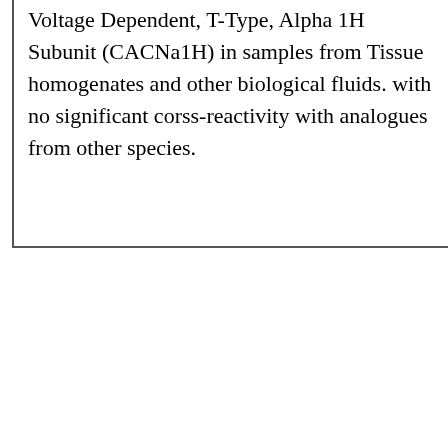Voltage Dependent, T-Type, Alpha 1H Subunit (CACNa1H) in samples from Tissue homogenates and other biological fluids. with no significant corss-reactivity with analogues from other species.
[Figure (screenshot): A product card with a gray image placeholder showing truncated text 'ace Dependent, T-Type, Alpha 1H Eub', a bold title 'Mouse Calcium' in black, and a red button with up-arrow chevrons in the bottom right corner.]